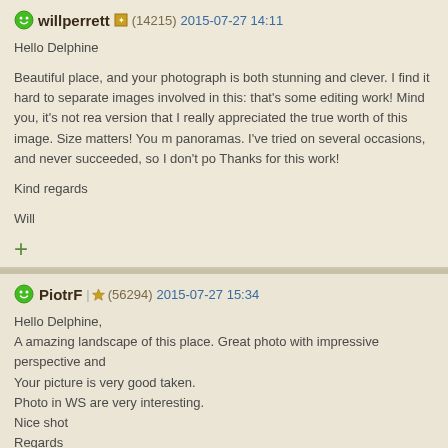willperrett (14215) 2015-07-27 14:11
Hello Delphine

Beautiful place, and your photograph is both stunning and clever. I find it hard to separate images involved in this: that's some editing work! Mind you, it's not really the version that I really appreciated the true worth of this image. Size matters! You make panoramas. I've tried on several occasions, and never succeeded, so I don't po... Thanks for this work!

Kind regards

Will
PiotrF (56294) 2015-07-27 15:34
Hello Delphine,
A amazing landscape of this place. Great photo with impressive perspective and...
Your picture is very good taken.
Photo in WS are very interesting.
Nice shot
Regards
Piotr